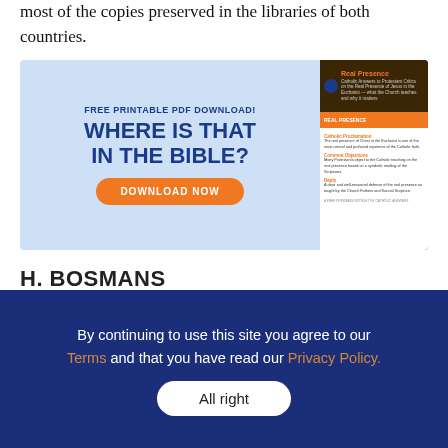most of the copies preserved in the libraries of both countries.
[Figure (infographic): Advertisement banner: Free Printable PDF Download - WHERE IS THAT IN THE BIBLE? with a Download Now button in orange, and a preview image of the PDF document on the right side.]
H. BOSMANS
Catholic Answers is pleased to provide this unabridged entry from the original Catholic Encyclopedia, published between 1907 and
By continuing to use this site you agree to our Terms and that you have read our Privacy Policy. All right